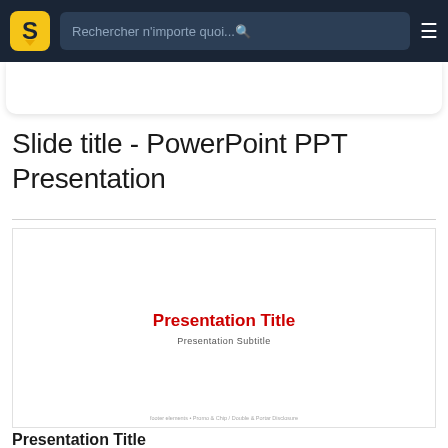[Figure (screenshot): Website navigation bar with logo 'S', search bar reading 'Rechercher n'importe quoi...', and hamburger menu icon on dark navy background]
Slide title - PowerPoint PPT Presentation
[Figure (screenshot): PowerPoint slide preview on white background showing 'Presentation Title' in bold red and 'Presentation Subtitle' in grey below it, with footer text at bottom]
Presentation Title
Presentation Title. Presentation Subtitle. Standard Slide. Section Title.